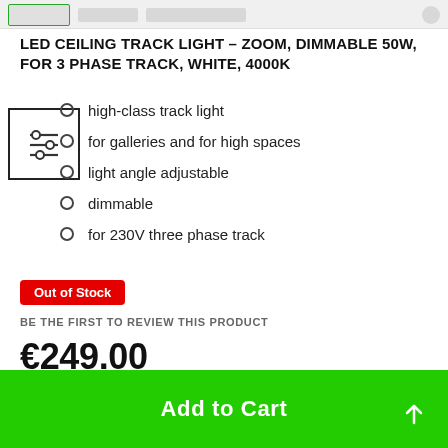LED CEILING TRACK LIGHT – ZOOM, DIMMABLE 50W, FOR 3 PHASE TRACK, WHITE, 4000K
high-class track light
for galleries and for high spaces
light angle adjustable
dimmable
for 230V three phase track
Out of Stock
BE THE FIRST TO REVIEW THIS PRODUCT
€249.00
Add to Cart